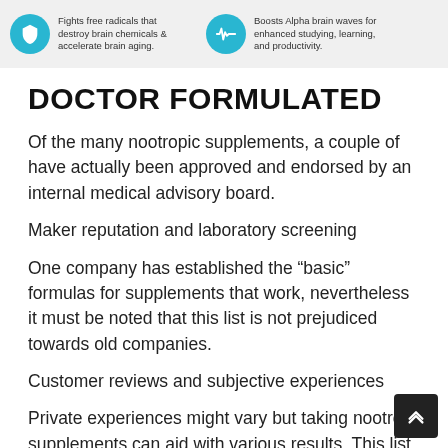[Figure (infographic): Two circular teal icons with text descriptions about brain health benefits. Left icon (letter U or shield) with text 'Fights free radicals that destroy brain chemicals & accelerate brain aging.' Right icon (waveform) with text 'Boosts Alpha brain waves for enhanced studying, learning, and productivity.']
DOCTOR FORMULATED
Of the many nootropic supplements, a couple of have actually been approved and endorsed by an internal medical advisory board.
Maker reputation and laboratory screening
One company has established the “basic” formulas for supplements that work, nevertheless it must be noted that this list is not prejudiced towards old companies.
Customer reviews and subjective experiences
Private experiences might vary but taking nootropic supplements can aid with various results. This list